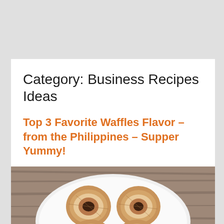Category: Business Recipes Ideas
Top 3 Favorite Waffles Flavor – from the Philippines – Supper Yummy!
[Figure (photo): Photo of Filipino waffles (rolled waffle cones/balls) on a white plate, showing cross-sections with various fillings including chocolate and red bean, placed on a wooden table surface.]